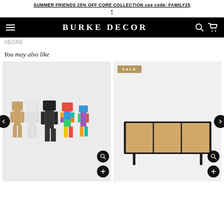SUMMER FRIENDS 25% OFF CORE COLLECTION use code: FAMILY25 *
BURKE DECOR
#BDRE
You may also like
[Figure (photo): Group of colorful and natural wooden robot toy figures on white background]
[Figure (photo): Wooden sideboard with rattan doors and black metal legs, SALE badge shown]